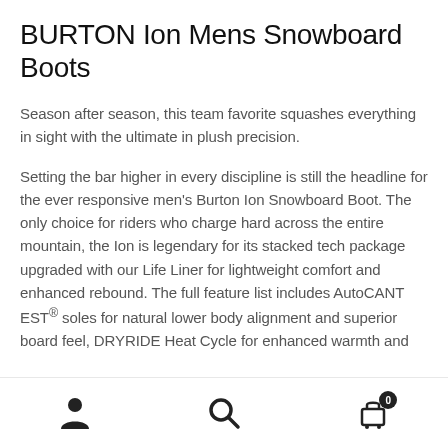BURTON Ion Mens Snowboard Boots
Season after season, this team favorite squashes everything in sight with the ultimate in plush precision.
Setting the bar higher in every discipline is still the headline for the ever responsive men's Burton Ion Snowboard Boot. The only choice for riders who charge hard across the entire mountain, the Ion is legendary for its stacked tech package upgraded with our Life Liner for lightweight comfort and enhanced rebound. The full feature list includes AutoCANTEST® soles for natural lower body alignment and superior board feel, DRYRIDE Heat Cycle for enhanced warmth and
[Figure (infographic): Bottom navigation bar with three icons: user/account icon on the left, search magnifying glass icon in the center, and shopping cart icon with a badge showing '0' on the right]